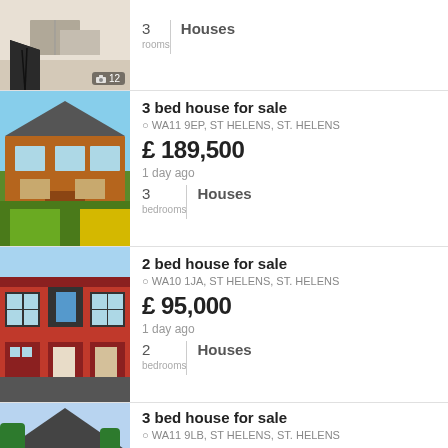[Figure (photo): Interior room photo with black chair, partial view. Camera icon with 12 photos badge.]
3 rooms | Houses
[Figure (photo): Exterior photo of a 3-bed semi-detached brick house with green lawn.]
3 bed house for sale
WA11 9EP, ST HELENS, ST. HELENS
£ 189,500
1 day ago
3 bedrooms | Houses
[Figure (photo): Exterior photo of a 2-bed terraced brick house with blue door.]
2 bed house for sale
WA10 1JA, ST HELENS, ST. HELENS
£ 95,000
1 day ago
2 bedrooms | Houses
[Figure (photo): Exterior photo of a 3-bed detached house with trees.]
3 bed house for sale
WA11 9LB, ST HELENS, ST. HELENS
£ 245,000